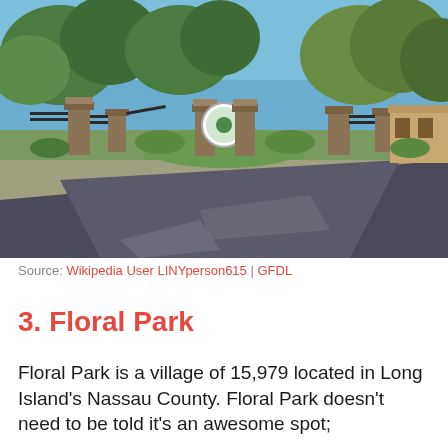[Figure (photo): Entrance gate to Floral Park with stone pillars, iron fencing, a circular sign/emblem in the center, trees and greenery in background, paved road in foreground under bright blue sky.]
Source: Wikipedia User LINYperson615 | GFDL
3. Floral Park
Floral Park is a village of 15,979 located in Long Island's Nassau County. Floral Park doesn't need to be told it's an awesome spot;